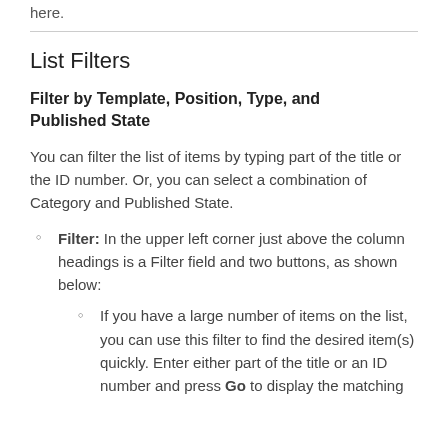here.
List Filters
Filter by Template, Position, Type, and Published State
You can filter the list of items by typing part of the title or the ID number. Or, you can select a combination of Category and Published State.
Filter: In the upper left corner just above the column headings is a Filter field and two buttons, as shown below:
If you have a large number of items on the list, you can use this filter to find the desired item(s) quickly. Enter either part of the title or an ID number and press Go to display the matching